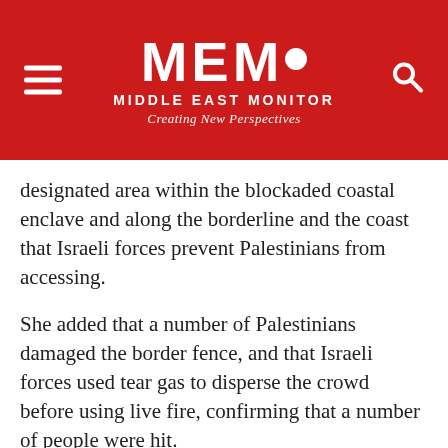MEMO MIDDLE EAST MONITOR — Creating New Perspectives
designated area within the blockaded coastal enclave and along the borderline and the coast that Israeli forces prevent Palestinians from accessing.
She added that a number of Palestinians damaged the border fence, and that Israeli forces used tear gas to disperse the crowd before using live fire, confirming that a number of people were hit.
The spokesperson said that clashes were still ongoing in certain areas on Friday evening.
Palestinians in the Gaza Strip have